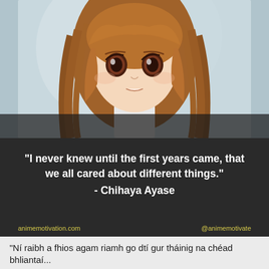[Figure (illustration): Anime character illustration: a young woman with long auburn/brown hair and large brown eyes, looking forward with a slightly open mouth, against a light blue-grey background. Style is Japanese anime.]
"I never knew until the first years came, that we all cared about different things."
- Chihaya Ayase
animemotivation.com    @animemotivate
"Ní raibh a fhios agam riamh go dtí gur tháinig na chéad bhliantaí..."